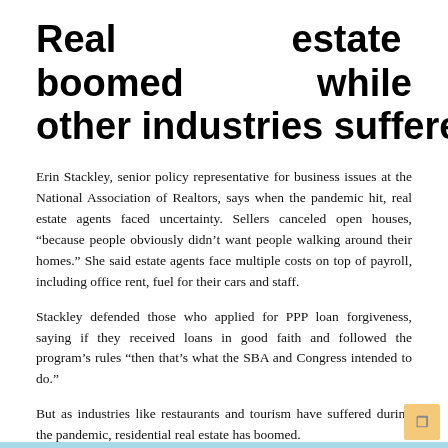Real estate boomed while other industries suffered
Erin Stackley, senior policy representative for business issues at the National Association of Realtors, says when the pandemic hit, real estate agents faced uncertainty. Sellers canceled open houses, “because people obviously didn’t want people walking around their homes.” She said estate agents face multiple costs on top of payroll, including office rent, fuel for their cars and staff.
Stackley defended those who applied for PPP loan forgiveness, saying if they received loans in good faith and followed the program’s rules “then that’s what the SBA and Congress intended to do.”
But as industries like restaurants and tourism have suffered during the pandemic, residential real estate has boomed.